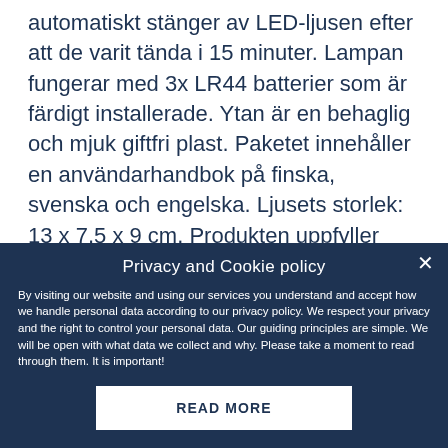automatiskt stänger av LED-ljusen efter att de varit tända i 15 minuter. Lampan fungerar med 3x LR44 batterier som är färdigt installerade. Ytan är en behaglig och mjuk giftfri plast. Paketet innehåller en användarhandbok på finska, svenska och engelska. Ljusets storlek: 13 x 7,5 x 9 cm. Produkten uppfyller kraven i EN71-1, EN71-2 och EN71-3. Inte lämpligt för barn under 3 år. CE-godkänd.
Return policy
Privacy and Cookie policy
By visiting our website and using our services you understand and accept how we handle personal data according to our privacy policy. We respect your privacy and the right to control your personal data. Our guiding principles are simple. We will be open with what data we collect and why. Please take a moment to read through them. It is important!